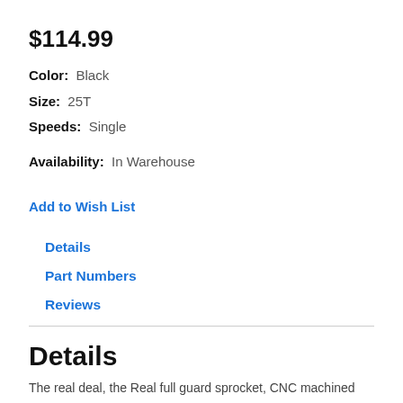$114.99
Color:  Black
Size:  25T
Speeds:  Single
Availability:  In Warehouse
Add to Wish List
Details
Part Numbers
Reviews
Details
The real deal, the Real full guard sprocket, CNC machined